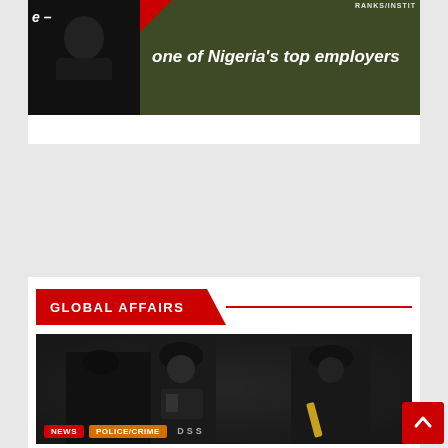[Figure (photo): News article card with two images side by side: left shows a dark silhouetted person (police/official), right shows a dark green background with bold white italic text reading 'one of Nigeria's top employers' and partial text 'RANKS/INSTIT' visible at top right]
one of Nigeria's top employers
GLOBAL AFFAIRS
[Figure (photo): Photo of armed police officers in black tactical gear and helmets, with NEWS and POLICE/CRIME category tags at the bottom]